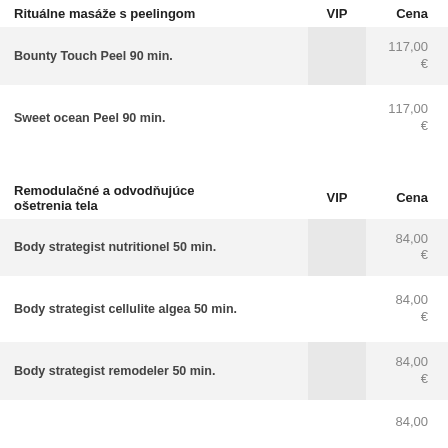Rituálne masáže s peelingom  VIP  Cena
| Service | VIP | Cena |
| --- | --- | --- |
| Bounty Touch Peel 90 min. |  | 117,00 € |
| Sweet ocean Peel 90 min. |  | 117,00 € |
Remodulačné a odvodňujúce ošetrenia tela  VIP  Cena
| Service | VIP | Cena |
| --- | --- | --- |
| Body strategist nutritionel 50 min. |  | 84,00 € |
| Body strategist cellulite algea 50 min. |  | 84,00 € |
| Body strategist remodeler 50 min. |  | 84,00 € |
|  |  | 84,00 |